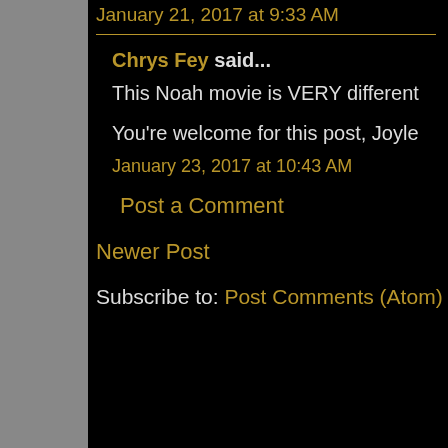January 21, 2017 at 9:33 AM
Chrys Fey said...
This Noah movie is VERY different
You're welcome for this post, Joyle
January 23, 2017 at 10:43 AM
Post a Comment
Newer Post
Subscribe to: Post Comments (Atom)